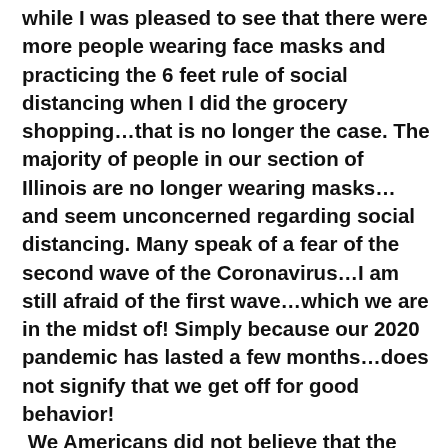while I was pleased to see that there were more people wearing face masks and practicing the 6 feet rule of social distancing when I did the grocery shopping…that is no longer the case.  The majority of people in our section of Illinois are no longer wearing masks…and seem unconcerned regarding social distancing.  Many speak of a fear of the second wave of the Coronavirus…I am still afraid of the first wave…which we are in the midst of!  Simply because our 2020 pandemic has lasted a few months…does not signify that we get off for good behavior!  We Americans did not believe that the plague or the pandemic would come to us…after all we have been raised to believe that we are the greatest country on the face of the earth!  The audacity of a third world virus interfering with our first world lifestyle…  But it has…and it is just getting started.